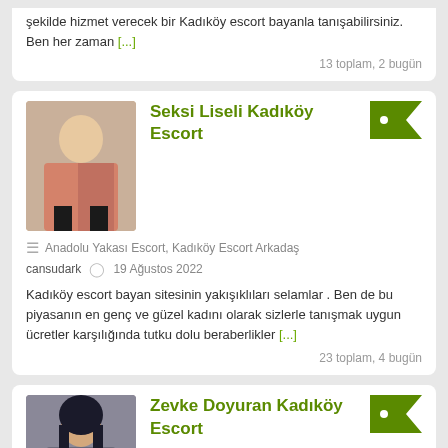şekilde hizmet verecek bir Kadıköy escort bayanla tanışabilirsiniz. Ben her zaman [...]
13 toplam, 2 bugün
Seksi Liseli Kadıköy Escort
Anadolu Yakası Escort, Kadıköy Escort Arkadaş
cansudark  19 Ağustos 2022
Kadıköy escort bayan sitesinin yakışıklıları selamlar . Ben de bu piyasanın en genç ve güzel kadını olarak sizlerle tanışmak uygun ücretler karşılığında tutku dolu beraberlikler [...]
23 toplam, 4 bugün
Zevke Doyuran Kadıköy Escort